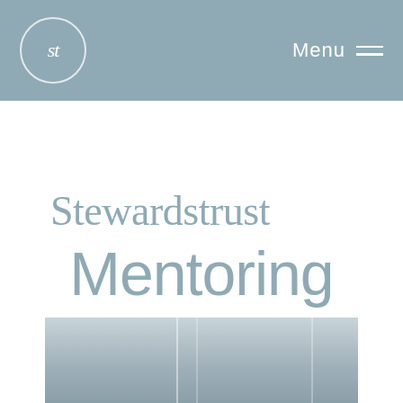st | Menu
[Figure (logo): Stewardstrust wordmark logo in muted steel blue serif font]
Mentoring
[Figure (photo): Partial view of a grey-toned architectural or interior photo visible at the bottom of the page]